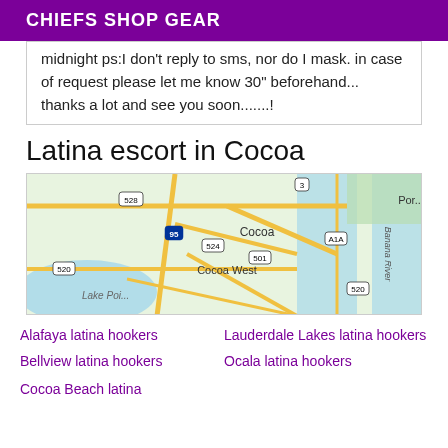CHIEFS SHOP GEAR
midnight ps:I don't reply to sms, nor do I mask. in case of request please let me know 30" beforehand... thanks a lot and see you soon.......!
Latina escort in Cocoa
[Figure (map): Street map of Cocoa, Florida area showing highways 528, 95, 524, 501, A1A, 520, 3, and landmarks Cocoa, Cocoa West, Lake Poi..., Banana River, Por...]
Alafaya latina hookers
Lauderdale Lakes latina hookers
Bellview latina hookers
Ocala latina hookers
Cocoa Beach latina